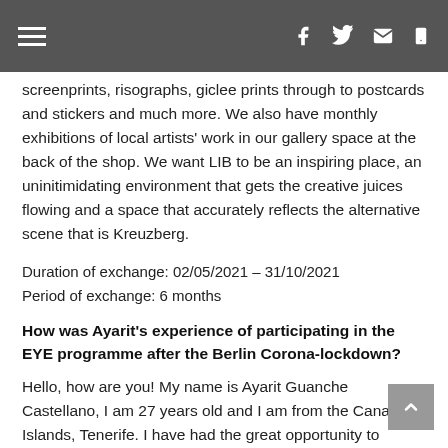[hamburger menu] [facebook] [twitter] [email] [phone]
screenprints, risographs, giclee prints through to postcards and stickers and much more. We also have monthly exhibitions of local artists' work in our gallery space at the back of the shop. We want LIB to be an inspiring place, an uninitimidating environment that gets the creative juices flowing and a space that accurately reflects the alternative scene that is Kreuzberg.
Duration of exchange: 02/05/2021 – 31/10/2021
Period of exchange: 6 months
How was Ayarit's experience of participating in the EYE programme after the Berlin Corona-lockdown?
Hello, how are you! My name is Ayarit Guanche Castellano, I am 27 years old and I am from the Canary Islands, Tenerife. I have had the great opportunity to participate in the Erasmus programme for Young Entrepreneurs and I encourage other entrepreneurs to